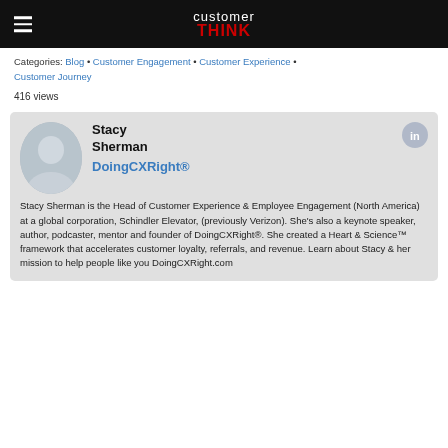customer THINK
Categories: Blog • Customer Engagement • Customer Experience • Customer Journey
416 views
[Figure (photo): Profile card for Stacy Sherman showing her photo, LinkedIn icon, company DoingCXRight®, and bio text]
Stacy Sherman is the Head of Customer Experience & Employee Engagement (North America) at a global corporation, Schindler Elevator, (previously Verizon). She's also a keynote speaker, author, podcaster, mentor and founder of DoingCXRight®. She created a Heart & Science™ framework that accelerates customer loyalty, referrals, and revenue. Learn about Stacy & her mission to help people like you DoingCXRight.com